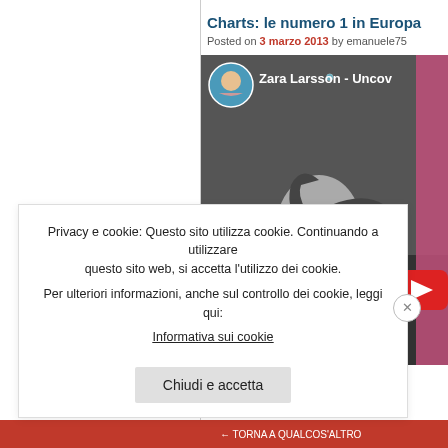Charts: le numero 1 in Europa
Posted on 3 marzo 2013 by emanuele75
[Figure (screenshot): YouTube video thumbnail showing Zara Larsson - Uncovered, black and white photo of a young woman singing into a studio microphone with YouTube play button visible]
Privacy e cookie: Questo sito utilizza cookie. Continuando a utilizzare questo sito web, si accetta l'utilizzo dei cookie.
Per ulteriori informazioni, anche sul controllo dei cookie, leggi qui:
Informativa sui cookie
Chiudi e accetta